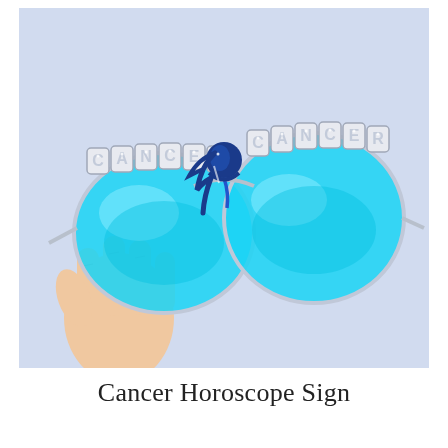[Figure (photo): A hand holding a pair of novelty sunglasses with bright blue mirrored lenses. The frames are silver/metallic and the top rim of each lens has rhinestone/crystal letters spelling 'CANCER'. Between the two lenses is a decorative blue enamel Cancer zodiac symbol (woman with flowing blue hair). The background is a soft light blue/lavender.]
Cancer Horoscope Sign